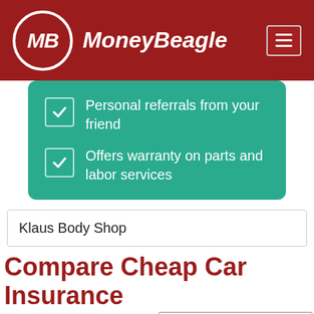[Figure (logo): MoneyBeagle logo — MB initials in white italic on a dark red circular badge, beside italic white text 'MoneyBeagle', with a hamburger menu icon at the top right, all on a dark red header background.]
Personal referrals from your friend
Offers warranty on parts and labor services
Klaus Body Shop
Compare Cheap Car Insurance Quotes Now
Enter Zip
Get Rates >